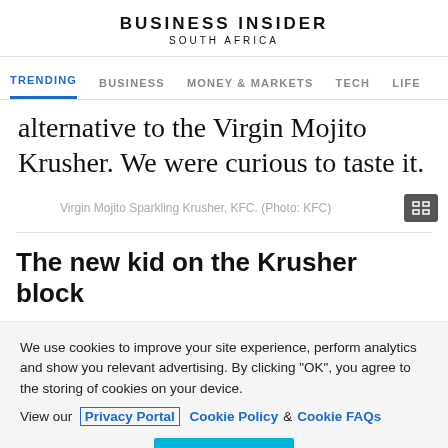BUSINESS INSIDER
SOUTH AFRICA
TRENDING   BUSINESS   MONEY & MARKETS   TECH   LIFE
alternative to the Virgin Mojito Krusher. We were curious to taste it.
Virgin Mojito Sparkling Krusher, KFC. (Photo: KFC)
The new kid on the Krusher block
We use cookies to improve your site experience, perform analytics and show you relevant advertising. By clicking "OK", you agree to the storing of cookies on your device. View our Privacy Portal  Cookie Policy &  Cookie FAQs